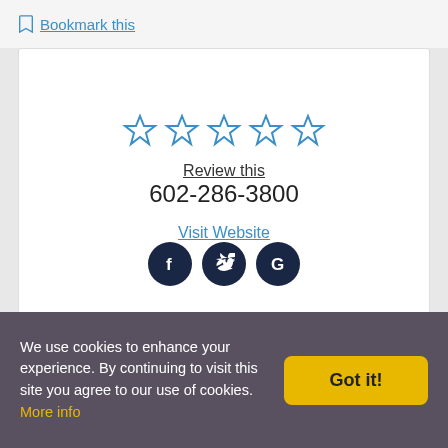Bookmark this
[Figure (other): Five empty blue star rating icons]
Review this
602-286-3800
Visit Website
[Figure (other): Social media icons: Facebook, Twitter, Google]
[Figure (logo): Diamond/gem shaped blue-purple logo in lower card]
We use cookies to enhance your experience. By continuing to visit this site you agree to our use of cookies. More info